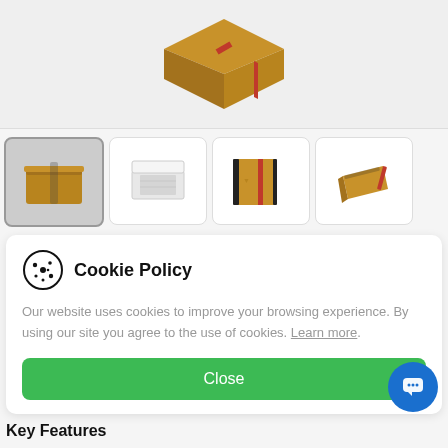[Figure (photo): Top portion of a brown cardboard box with a red strip, shown from a top-angled view, on a light grey background.]
[Figure (photo): Thumbnail 1: Brown cardboard book-style box with elastic band closure, shown from top-front angle on grey background. Currently selected thumbnail.]
[Figure (photo): Thumbnail 2: White open flat-pack box, shown from top angle.]
[Figure (photo): Thumbnail 3: Black and kraft/gold hardcover book box with red elastic band, front view.]
[Figure (photo): Thumbnail 4: Kraft/gold coloured flat box with red elastic band, angled view.]
Our website uses cookies to improve your browsing experience. By using our site you agree to the use of cookies. Learn more.
Cookie Policy
Key Features